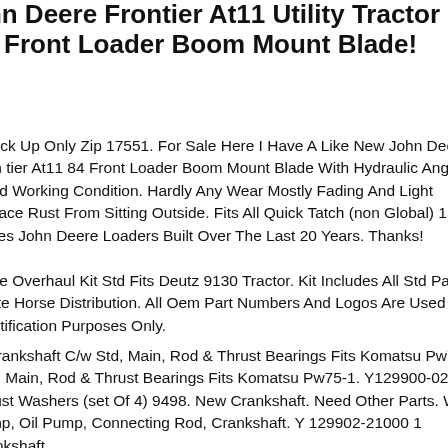ohn Deere Frontier At11 Utility Tractor 4" Front Loader Boom Mount Blade!
al Pick Up Only Zip 17551. For Sale Here I Have A Like New John Deere Frontier At11 84 Front Loader Boom Mount Blade With Hydraulic Angle. In Good Working Condition. Hardly Any Wear Mostly Fading And Light Surface Rust From Sitting Outside. Fits All Quick Tatch (non Global) 1 To 5 Series John Deere Loaders Built Over The Last 20 Years. Thanks!
ngine Overhaul Kit Std Fits Deutz 9130 Tractor. Kit Includes All Std Parts. White Horse Distribution. All Oem Part Numbers And Logos Are Used For Identification Purposes Only.
w Crankshaft C/w Std, Main, Rod & Thrust Bearings Fits Komatsu Pw75-1. Cw, Main, Rod & Thrust Bearings Fits Komatsu Pw75-1. Y129900-02931 1 Thrust Washers (set Of 4) 9498. New Crankshaft. Need Other Parts. Water Pump, Oil Pump, Connecting Rod, Crankshaft. Y 129902-21000 1 Crankshaft.